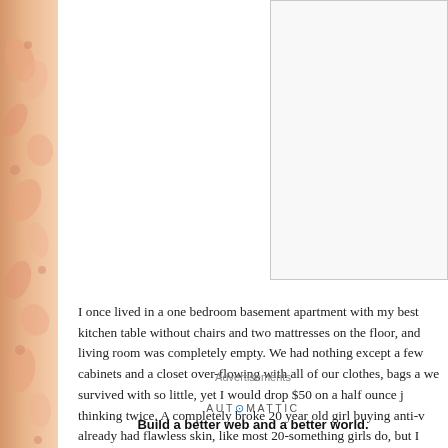[Figure (other): Decorative floral border on the left side of the page with peach/salmon tones]
[Figure (other): Empty image placeholder box with light gray border in upper right content area]
I once lived in a one bedroom basement apartment with my best kitchen table without chairs and two mattresses on the floor, and living room was completely empty. We had nothing except a few cabinets and a closet over-flowing with all of our clothes, bags a we survived with so little, yet I would drop $50 on a half ounce j thinking twice. A completely broke 20 year old girl buying anti-v already had flawless skin, like most 20-something girls do, but I paycheck on beauty products vs. food.
Advertisements
AUT⊙MATTIC
Build a better web and a better world.